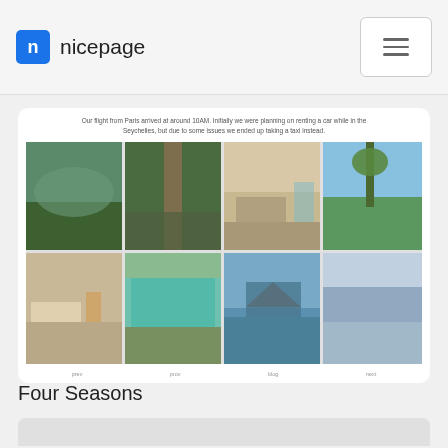nicepage
[Figure (photo): Photo gallery grid showing 8 tropical resort photos: aerial tropical bay view, wooden boardwalk through jungle, bedroom interior, beach with palm trees, living room interior, swimming pool, overwater bungalow, infinity pool]
Our flight from Paris arrived at around 10AM. Initially we were planning on renting a car while in the Seychelles, but due to some issues we ended up taking a taxi instead.
Four Seasons
[Figure (photo): Placeholder image area (gray rectangle)]